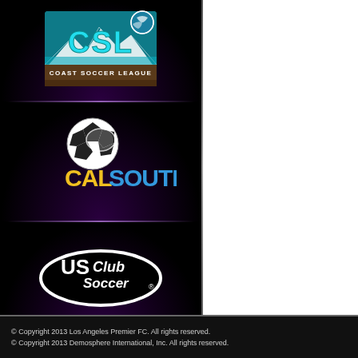[Figure (logo): Coast Soccer League (CSL) logo — teal/cyan letters CSL with soccer ball globe icon, text 'COAST SOCCER LEAGUE' below, on dark background with purple glow]
[Figure (logo): Cal South logo — soccer ball with grizzly bear graphic above, yellow bold text 'CAL' and blue bold text 'SOUTH', on dark background with purple glow]
[Figure (logo): US Club Soccer logo — white text 'USClub Soccer' on black oval with white border, on dark background with purple glow]
© Copyright 2013 Los Angeles Premier FC. All rights reserved.
© Copyright 2013 Demosphere International, Inc. All rights reserved.